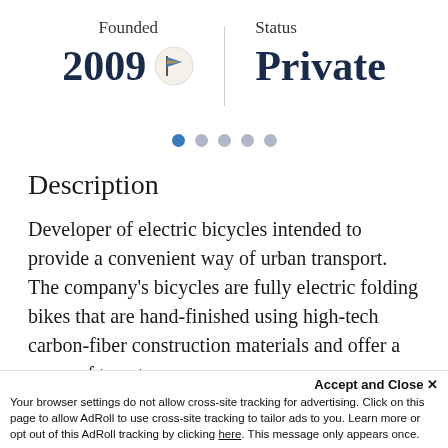Founded
2009
Status
Private
[Figure (other): Pagination dots, 5 dots with first one highlighted in blue]
Description
Developer of electric bicycles intended to provide a convenient way of urban transport. The company's bicycles are fully electric folding bikes that are hand-finished using high-tech carbon-fiber construction materials and offer a range of twenty
Accept and Close ✕
Your browser settings do not allow cross-site tracking for advertising. Click on this page to allow AdRoll to use cross-site tracking to tailor ads to you. Learn more or opt out of this AdRoll tracking by clicking here. This message only appears once.